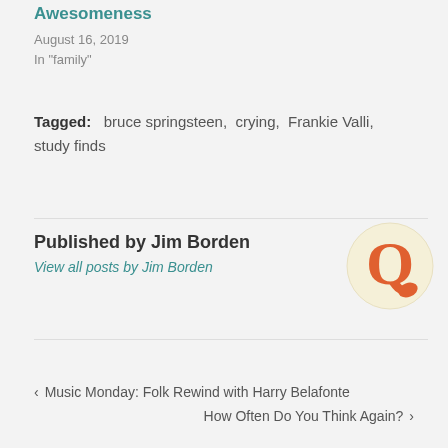Awesomeness
August 16, 2019
In "family"
Tagged:   bruce springsteen,  crying,  Frankie Valli,  study finds
Published by Jim Borden
View all posts by Jim Borden
[Figure (logo): Circular logo with a stylized Q letter in orange/coral color on a light yellow background]
‹  Music Monday: Folk Rewind with Harry Belafonte
How Often Do You Think Again?  ›